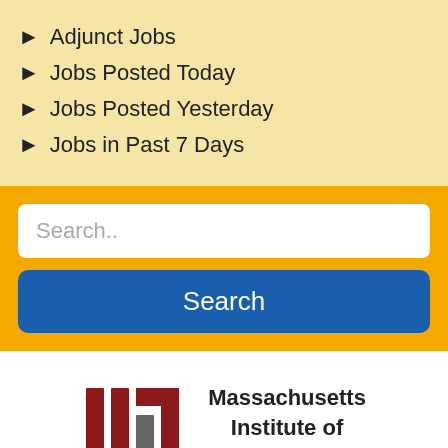Adjunct Jobs
Jobs Posted Today
Jobs Posted Yesterday
Jobs in Past 7 Days
Search..
Search
[Figure (logo): MIT logo with red and gray vertical bars forming stylized letters MIT, alongside text 'Massachusetts Institute of Technology']